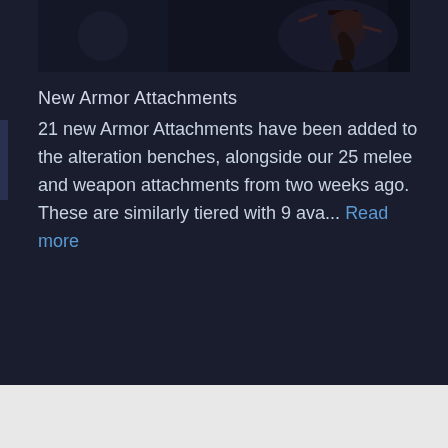[Figure (photo): Dark game screenshot showing a character figure against a dark background]
New Armor Attachments
21 new Armor Attachments have been added to the alteration benches, alongside our 25 melee and weapon attachments from two weeks ago. These are similarly tiered with 9 ava... Read more